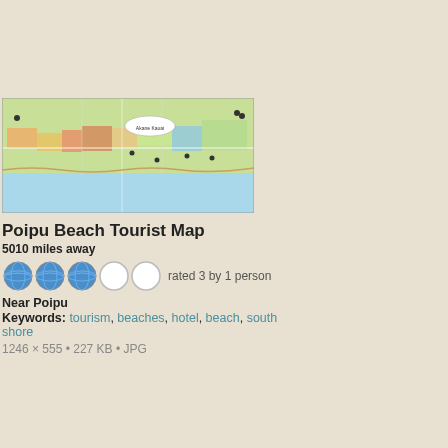[Figure (map): Poipu Beach Tourist Map showing coastal area with hotels, beaches, and landmarks near Poipu, Kauai]
Poipu Beach Tourist Map
5010 miles away
[Figure (other): Star rating: 3 out of 5 globe icons filled, 2 empty. Rated 3 by 1 person.]
Near Poipu
Keywords: tourism, beaches, hotel, beach, south shore
1246 × 555 • 227 KB • JPG